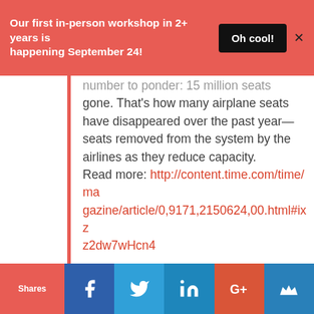Our first in-person workshop in 2+ years is happening September 24!
number to ponder: 15 million seats gone. That's how many airplane seats have disappeared over the past year—seats removed from the system by the airlines as they reduce capacity. Read more: http://content.time.com/time/magazine/article/0,9171,2150624,00.html#ixzz2dw7wHcn4
Shares | Facebook | Twitter | LinkedIn | Google+ | Email